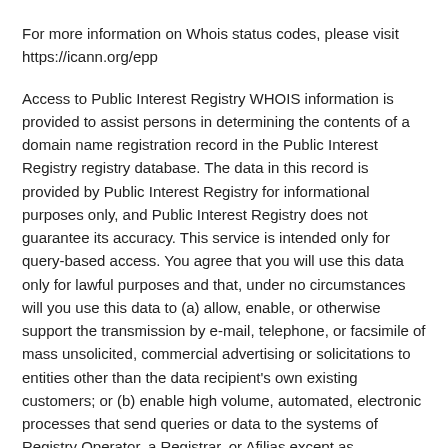For more information on Whois status codes, please visit https://icann.org/epp
Access to Public Interest Registry WHOIS information is provided to assist persons in determining the contents of a domain name registration record in the Public Interest Registry registry database. The data in this record is provided by Public Interest Registry for informational purposes only, and Public Interest Registry does not guarantee its accuracy. This service is intended only for query-based access. You agree that you will use this data only for lawful purposes and that, under no circumstances will you use this data to (a) allow, enable, or otherwise support the transmission by e-mail, telephone, or facsimile of mass unsolicited, commercial advertising or solicitations to entities other than the data recipient's own existing customers; or (b) enable high volume, automated, electronic processes that send queries or data to the systems of Registry Operator, a Registrar, or Afilias except as reasonably necessary to register domain names or modify existing registrations. All rights reserved. Public Interest Registry reserves the right to modify these terms at any time. By submitting this query, you agree to abide by this policy.